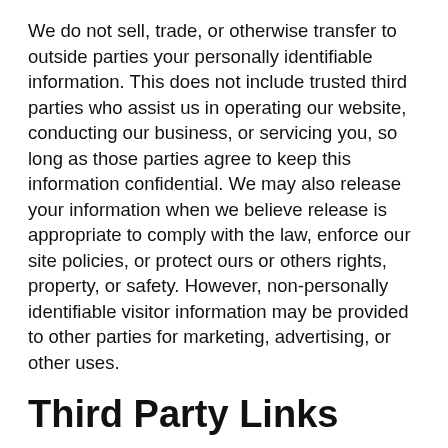We do not sell, trade, or otherwise transfer to outside parties your personally identifiable information. This does not include trusted third parties who assist us in operating our website, conducting our business, or servicing you, so long as those parties agree to keep this information confidential. We may also release your information when we believe release is appropriate to comply with the law, enforce our site policies, or protect ours or others rights, property, or safety. However, non-personally identifiable visitor information may be provided to other parties for marketing, advertising, or other uses.
Third Party Links
We may include or offer third party services on our website. These third party sites have separate and independent privacy policies. We therefore have no responsibility or liability for the content and activities of these linked sites. Nonetheless, we seek to protect the